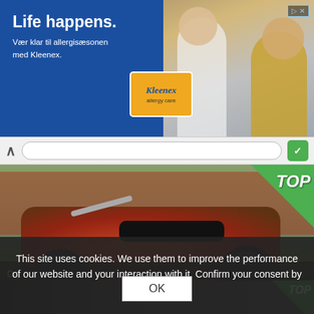[Figure (photo): Advertisement banner for Kleenex allergy season products. Blue background with headline 'Life happens.' and subtext 'Vær klar til allergisæsonen med Kleenex.' with a Kleenex tissue box and two people in the background.]
[Figure (screenshot): Mobile browser navigation bar with back arrow, URL bar, and green icon button.]
[Figure (photo): Red mini motorcycle/dirt bike parked on grass in front of a wooden fence. Green 'TOP' badge in top-right corner.]
D...
Price:	$0
This site uses cookies. We use them to improve the performance of our website and your interaction with it. Confirm your consent by clicking OK
[Figure (photo): Partial view of a second motorcycle listing at the bottom of the page with a green 'TOP' badge.]